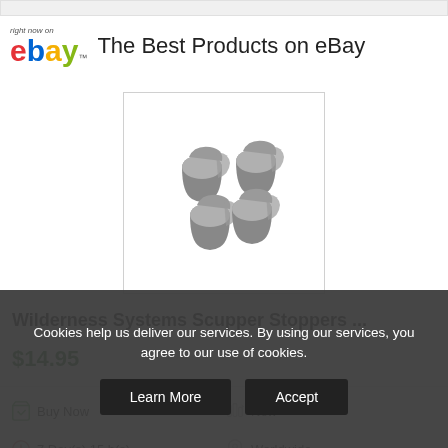right now on ebay™ The Best Products on eBay
[Figure (photo): Four gray rubber scupper stoppers on white background]
Wilderness Systems Scupper Stoppers ...
$14.95
Buy Now
New
7 Day(s) 15 h(s)
Worldwide
1 day
Easy Returns
Cookies help us deliver our services. By using our services, you agree to our use of cookies.